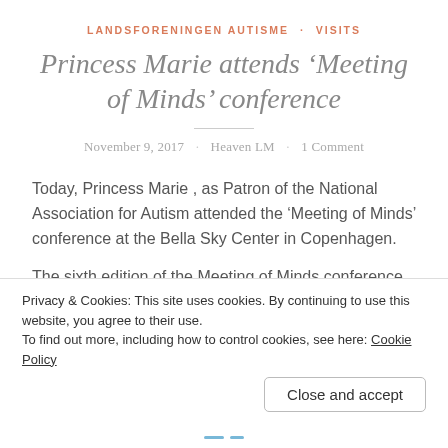LANDSFORENINGEN AUTISME · VISITS
Princess Marie attends ‘Meeting of Minds’ conference
November 9, 2017 · Heaven LM · 1 Comment
Today, Princess Marie , as Patron of the National Association for Autism attended the ‘Meeting of Minds’ conference at the Bella Sky Center in Copenhagen.
The sixth edition of the Meeting of Minds conference was
Privacy & Cookies: This site uses cookies. By continuing to use this website, you agree to their use.
To find out more, including how to control cookies, see here: Cookie Policy
Close and accept